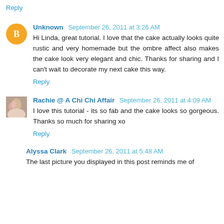Reply
Unknown  September 26, 2011 at 3:26 AM
Hi Linda, great tutorial. I love that the cake actually looks quite rustic and very homemade but the ombre affect also makes the cake look very elegant and chic. Thanks for sharing and I can't wait to decorate my next cake this way.
Reply
Rachie @ A Chi Chi Affair  September 26, 2011 at 4:09 AM
I love this tutorial - its so fab and the cake looks so gorgeous. Thanks so much for sharing xo
Reply
Alyssa Clark  September 26, 2011 at 5:48 AM
The last picture you displayed in this post reminds me of